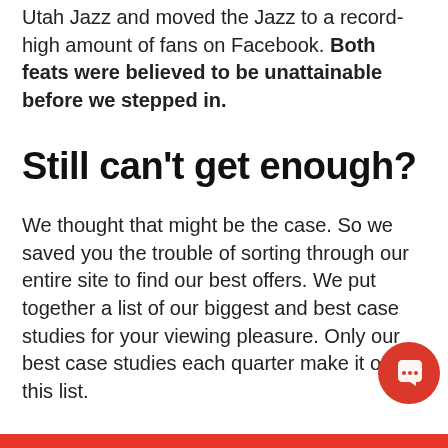Utah Jazz and moved the Jazz to a record-high amount of fans on Facebook. Both feats were believed to be unattainable before we stepped in.
Still can't get enough?
We thought that might be the case. So we saved you the trouble of sorting through our entire site to find our best offers. We put together a list of our biggest and best case studies for your viewing pleasure. Only our best case studies each quarter make it on this list.